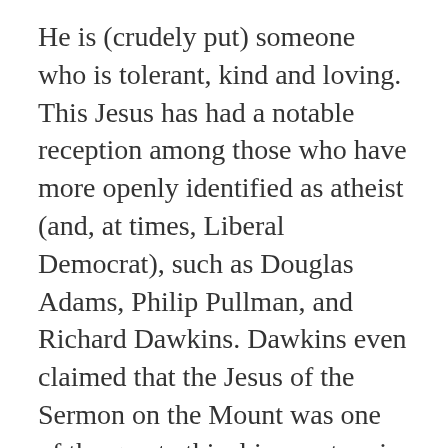He is (crudely put) someone who is tolerant, kind and loving. This Jesus has had a notable reception among those who have more openly identified as atheist (and, at times, Liberal Democrat), such as Douglas Adams, Philip Pullman, and Richard Dawkins. Dawkins even claimed that the Jesus of the Sermon on the Mount was one of the great ethical innovators in history.
Jesus the Radical is (crudely put) someone who shared such views but goes a socialist step further in promoting things like land and wealth redistribution, confronting power and wealth, egalitarianism, anti-clericalism and direct access to God, the importance of conscience, prophetic critique, and even ‘apocalyptic’ language, particularly with reference to a radical transformation of the social, economic and political order. To rephrase Morgan Phillips, the Radical Jesus owes as much to Marx as it does to Methodism.
This Jesus has had a sustained, if not always prominent,